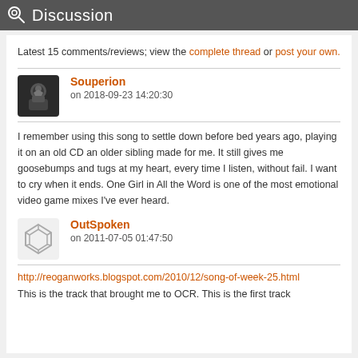Discussion
Latest 15 comments/reviews; view the complete thread or post your own.
[Figure (illustration): User avatar for Souperion — cartoon/illustrated character in dark armor]
Souperion
on 2018-09-23 14:20:30
I remember using this song to settle down before bed years ago, playing it on an old CD an older sibling made for me. It still gives me goosebumps and tugs at my heart, every time I listen, without fail. I want to cry when it ends. One Girl in All the Word is one of the most emotional video game mixes I've ever heard.
[Figure (illustration): User avatar for OutSpoken — geometric cube/box icon in light gray]
OutSpoken
on 2011-07-05 01:47:50
http://reoganworks.blogspot.com/2010/12/song-of-week-25.html
This is the track that brought me to OCR. This is the first track